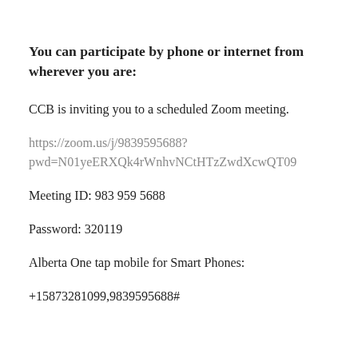You can participate by phone or internet from wherever you are:
CCB is inviting you to a scheduled Zoom meeting.
https://zoom.us/j/9839595688?pwd=N01yeERXQk4rWnhvNCtHTzZwdXcwQT09
Meeting ID: 983 959 5688
Password: 320119
Alberta One tap mobile for Smart Phones:
+15873281099,9839595688#